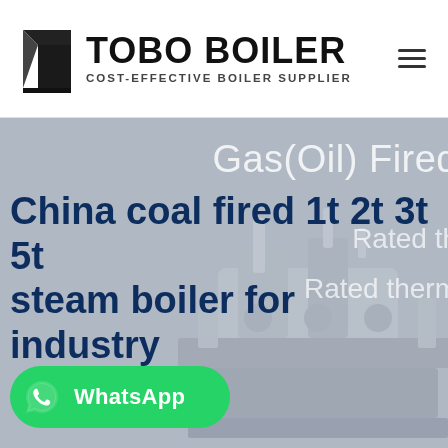[Figure (logo): TOBO BOILER logo with black geometric icon on the left and bold text 'TOBO BOILER' with subtitle 'COST-EFFECTIVE BOILER SUPPLIER']
[Figure (photo): Hero banner with grey-blue background showing industrial boiler equipment. Partially visible white text overlays reading 'Gas(Oil) Fired', 'Rated th', 'Rated therm'. Main bold dark blue heading reads 'China coal fired 1t 2t 3t 5t steam boiler for industry'. Green WhatsApp button at bottom left.]
China coal fired 1t 2t 3t 5t steam boiler for industry